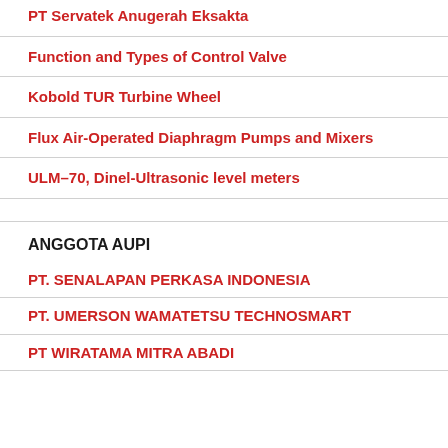PT Servatek Anugerah Eksakta
Function and Types of Control Valve
Kobold TUR Turbine Wheel
Flux Air-Operated Diaphragm Pumps and Mixers
ULM–70, Dinel-Ultrasonic level meters
ANGGOTA AUPI
PT. SENALAPAN PERKASA INDONESIA
PT. UMERSON WAMATETSU TECHNOSMART
PT WIRATAMA MITRA ABADI